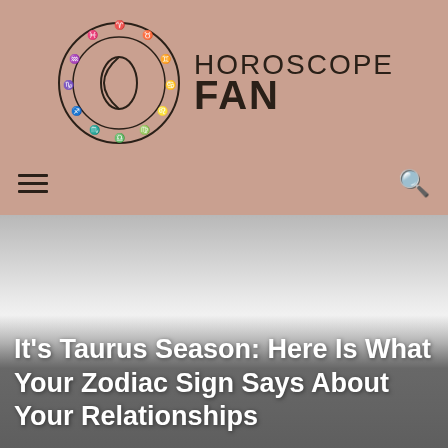[Figure (logo): Horoscope Fan website header with zodiac wheel logo and site name]
It's Taurus Season: Here Is What Your Zodiac Sign Says About Your Relationships